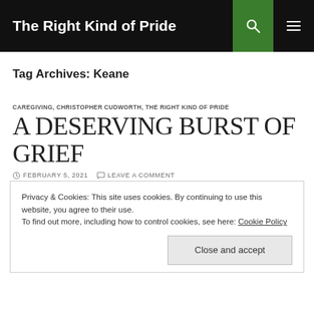The Right Kind of Pride
Tag Archives: Keane
CAREGIVING, CHRISTOPHER CUDWORTH, THE RIGHT KIND OF PRIDE
A DESERVING BURST OF GRIEF
FEBRUARY 5, 2021   LEAVE A COMMENT
Privacy & Cookies: This site uses cookies. By continuing to use this website, you agree to their use.
To find out more, including how to control cookies, see here: Cookie Policy
Close and accept